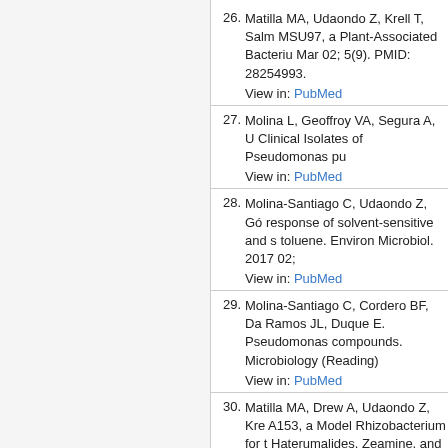26. Matilla MA, Udaondo Z, Krell T, Salm... MSU97, a Plant-Associated Bacteriu... Mar 02; 5(9). PMID: 28254993.
View in: PubMed
27. Molina L, Geoffroy VA, Segura A, U... Clinical Isolates of Pseudomonas pu...
View in: PubMed
28. Molina-Santiago C, Udaondo Z, Gó... response of solvent-sensitive and so... toluene. Environ Microbiol. 2017 02;
View in: PubMed
29. Molina-Santiago C, Cordero BF, Da... Ramos JL, Duque E. Pseudomonas... compounds. Microbiology (Reading)...
View in: PubMed
30. Matilla MA, Drew A, Udaondo Z, Kre... A153, a Model Rhizobacterium for t... Haterumalides, Zeamine, and Andri... 27198016.
View in: PubMed
31. Molina L, Udaondo Z, Duque E, Fer...